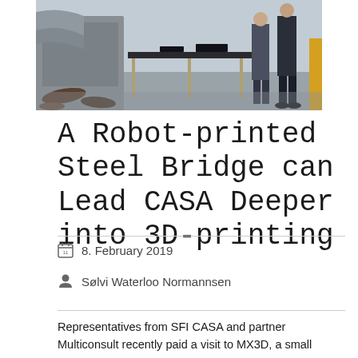[Figure (photo): Industrial workshop scene showing people standing near large metal/concrete structures and a table with 3D-printed steel bridge components]
A Robot-printed Steel Bridge can Lead CASA Deeper into 3D-printing
8. February 2019
Sølvi Waterloo Normannsen
Representatives from SFI CASA and partner Multiconsult recently paid a visit to MX3D, a small